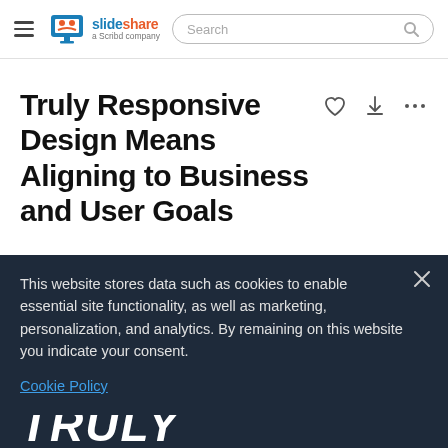SlideShare – a Scribd company
Truly Responsive Design Means Aligning to Business and User Goals
This website stores data such as cookies to enable essential site functionality, as well as marketing, personalization, and analytics. By remaining on this website you indicate your consent.
Cookie Policy
TRULY